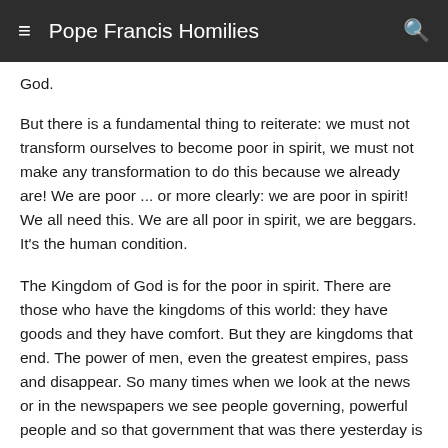≡  Pope Francis Homilies  🔍
God.
But there is a fundamental thing to reiterate: we must not transform ourselves to become poor in spirit, we must not make any transformation to do this because we already are! We are poor ... or more clearly: we are poor in spirit! We all need this. We are all poor in spirit, we are beggars. It's the human condition.
The Kingdom of God is for the poor in spirit. There are those who have the kingdoms of this world: they have goods and they have comfort. But they are kingdoms that end. The power of men, even the greatest empires, pass and disappear. So many times when we look at the news or in the newspapers we see people governing, powerful people and so that government that was there yesterday is no longer there today, has fallen. The riches of this world will disappear, also the powers. The old testament also that...